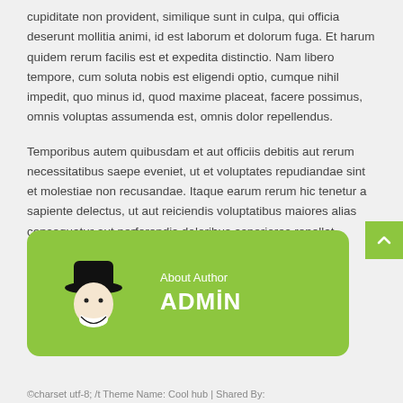cupiditate non provident, similique sunt in culpa, qui officia deserunt mollitia animi, id est laborum et dolorum fuga. Et harum quidem rerum facilis est et expedita distinctio. Nam libero tempore, cum soluta nobis est eligendi optio, cumque nihil impedit, quo minus id, quod maxime placeat, facere possimus, omnis voluptas assumenda est, omnis dolor repellendus.
Temporibus autem quibusdam et aut officiis debitis aut rerum necessitatibus saepe eveniet, ut et voluptates repudiandae sint et molestiae non recusandae. Itaque earum rerum hic tenetur a sapiente delectus, ut aut reiciendis voluptatibus maiores alias consequatur aut perferendis doloribus asperiores repellat.
Tags: business, management, seo
[Figure (illustration): Green rounded author box with a cartoon avatar (person with hat and beard) on the left and 'About Author' label above 'ADMIN' text in white on the right.]
©charset utf-8; /t Theme Name: Cool hub | Shared By: